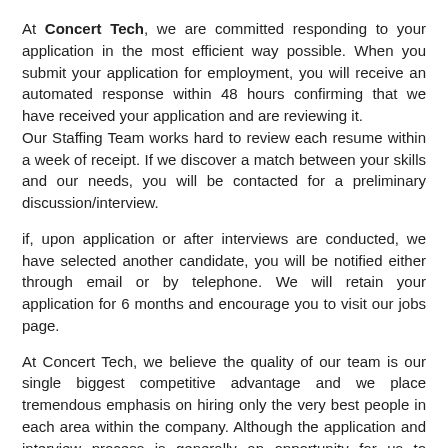At Concert Tech, we are committed responding to your application in the most efficient way possible. When you submit your application for employment, you will receive an automated response within 48 hours confirming that we have received your application and are reviewing it.
Our Staffing Team works hard to review each resume within a week of receipt. If we discover a match between your skills and our needs, you will be contacted for a preliminary discussion/interview.
if, upon application or after interviews are conducted, we have selected another candidate, you will be notified either through email or by telephone. We will retain your application for 6 months and encourage you to visit our jobs page.
At Concert Tech, we believe the quality of our team is our single biggest competitive advantage and we place tremendous emphasis on hiring only the very best people in each area within the company. Although the application and interview process is generally an opportunity for us to assess the qualities you will bring to a career at Concert Tech, we also want you to use this time to consider Concert Tech for yourself. Ask questions, get curious and challenge us to show you what really makes